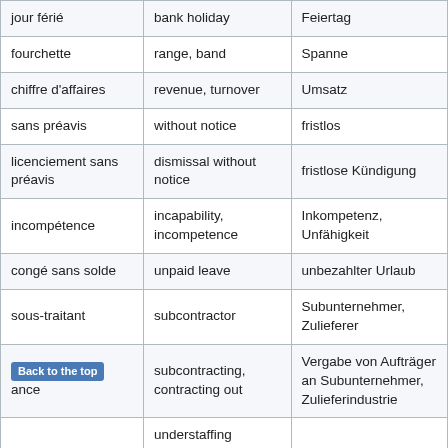| jour férié | bank holiday | Feiertag |
| fourchette | range, band | Spanne |
| chiffre d'affaires | revenue, turnover | Umsatz |
| sans préavis | without notice | fristlos |
| licenciement sans préavis | dismissal without notice | fristlose Kündigung |
| incompétence | incapability, incompetence | Inkompetenz, Unfähigkeit |
| congé sans solde | unpaid leave | unbezahlter Urlaub |
| sous-traitant | subcontractor | Subunternehmer, Zulieferer |
| sous-traitance [Back to the top] | subcontracting, contracting out | Vergabe von Aufträger an Subunternehmer, Zulieferindustrie |
|  | understaffing |  |